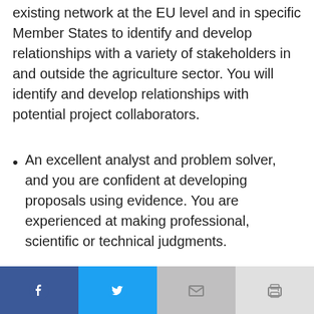existing network at the EU level and in specific Member States to identify and develop relationships with a variety of stakeholders in and outside the agriculture sector. You will identify and develop relationships with potential project collaborators.
An excellent analyst and problem solver, and you are confident at developing proposals using evidence. You are experienced at making professional, scientific or technical judgments.
Social share buttons: Facebook, Twitter, Email, Print